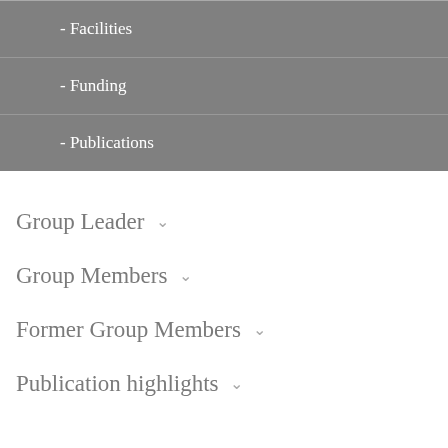- Facilities
- Funding
- Publications
Group Leader
Group Members
Former Group Members
Publication highlights